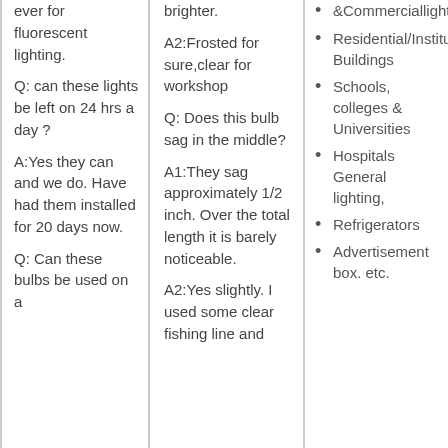ever for fluorescent lighting.
Q: can these lights be left on 24 hrs a day ?
A:Yes they can and we do. Have had them installed for 20 days now.
Q: Can these bulbs be used on a
brighter.
A2:Frosted for sure,clear for workshop
Q: Does this bulb sag in the middle?
A1:They sag approximately 1/2 inch. Over the total length it is barely noticeable.
A2:Yes slightly. I used some clear fishing line and
&Commerciallighting
Residential/Institution Buildings
Schools, colleges & Universities
Hospitals General lighting,
Refrigerators
Advertisement box. etc.